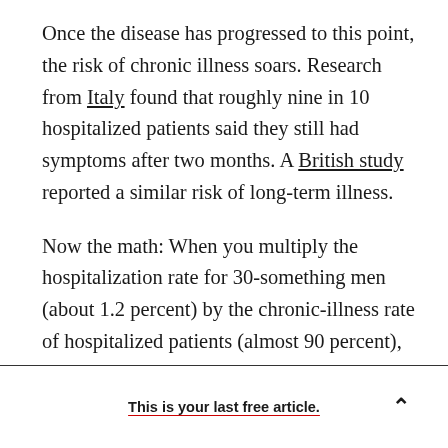Once the disease has progressed to this point, the risk of chronic illness soars. Research from Italy found that roughly nine in 10 hospitalized patients said they still had symptoms after two months. A British study reported a similar risk of long-term illness.
Now the math: When you multiply the hospitalization rate for 30-something men (about 1.2 percent) by the chronic-illness rate of hospitalized patients (almost 90 percent), you get about 1 percent. That means a guy my age has one-in-100 chance of developing a long-term illness
This is your last free article.